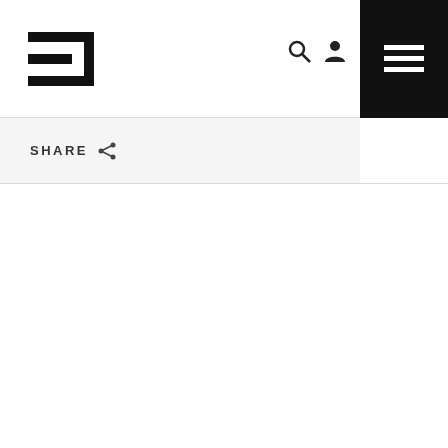[Figure (logo): Stylized logo with two horizontal bars on the left and a vertical bracket shape on the right, resembling a play/media icon, in black]
SHARE